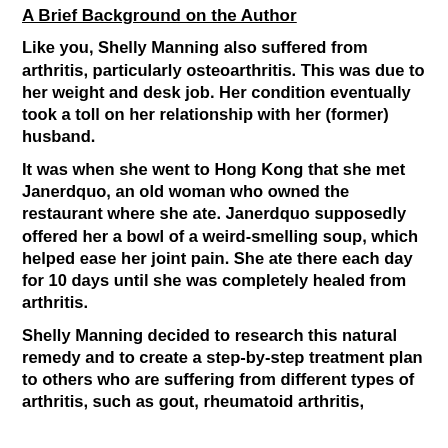A Brief Background on the Author
Like you, Shelly Manning also suffered from arthritis, particularly osteoarthritis. This was due to her weight and desk job. Her condition eventually took a toll on her relationship with her (former) husband.
It was when she went to Hong Kong that she met Janerdquo, an old woman who owned the restaurant where she ate. Janerdquo supposedly offered her a bowl of a weird-smelling soup, which helped ease her joint pain. She ate there each day for 10 days until she was completely healed from arthritis.
Shelly Manning decided to research this natural remedy and to create a step-by-step treatment plan to others who are suffering from different types of arthritis, such as gout, rheumatoid arthritis,